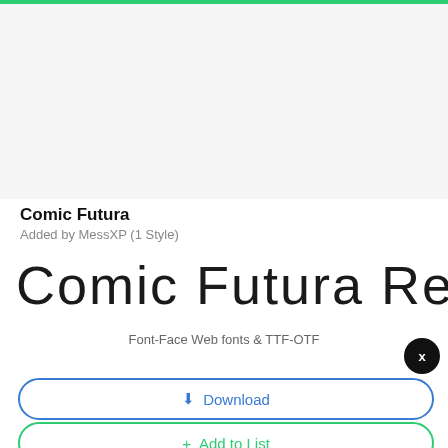[Figure (screenshot): Top green bar header strip]
Comic Futura
Added by MessXP (1 Style)
Comic Futura Regular AaBb
Font-Face Web fonts & TTF-OTF
Download
+ Add to List